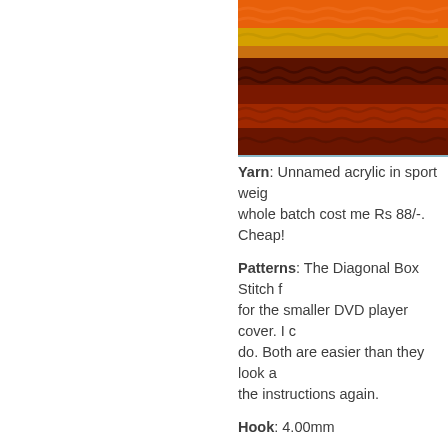[Figure (photo): Close-up photograph of crocheted fabric showing horizontal stripes in orange, yellow/gold, dark brown/maroon, and rust/red colors using a diagonal box stitch pattern.]
Yarn: Unnamed acrylic in sport weight. whole batch cost me Rs 88/-. Cheap!
Patterns: The Diagonal Box Stitch for the smaller DVD player cover. I do. Both are easier than they look and the instructions again.
Hook: 4.00mm
Time: The pieces themselves were 100 ends on the TV cover which I finally coverage. The DVD player cover had leftovers from the TV cover). The DVD using up the yarn rather than making wanted to use up all the yarn anyway.
Size: Didn't really measure, but they serve.